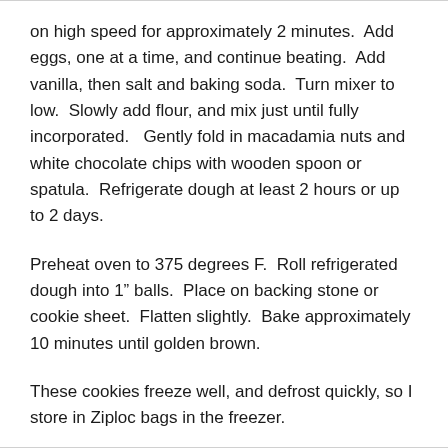on high speed for approximately 2 minutes.  Add eggs, one at a time, and continue beating.  Add vanilla, then salt and baking soda.  Turn mixer to low.  Slowly add flour, and mix just until fully incorporated.   Gently fold in macadamia nuts and white chocolate chips with wooden spoon or spatula.  Refrigerate dough at least 2 hours or up to 2 days.
Preheat oven to 375 degrees F.  Roll refrigerated dough into 1" balls.  Place on backing stone or cookie sheet.  Flatten slightly.  Bake approximately 10 minutes until golden brown.
These cookies freeze well, and defrost quickly, so I store in Ziploc bags in the freezer.